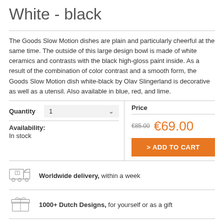White - black
The Goods Slow Motion dishes are plain and particularly cheerful at the same time. The outside of this large design bowl is made of white ceramics and contrasts with the black high-gloss paint inside. As a result of the combination of color contrast and a smooth form, the Goods Slow Motion dish white-black by Olav Slingerland is decorative as well as a utensil. Also available in blue, red, and lime.
| Quantity | Price |
| --- | --- |
| 1 | €85.00  €69.00 |
| Availability: In stock | > ADD TO CART |
Worldwide delivery, within a week
1000+ Dutch Designs, for yourself or as a gift